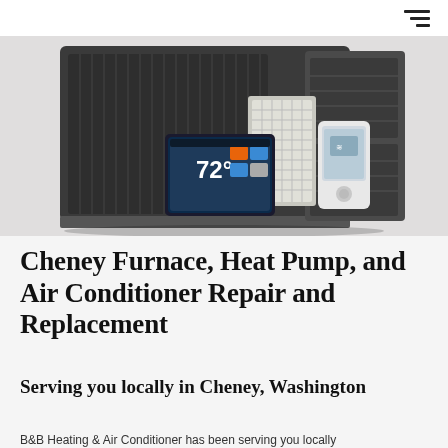☰ (hamburger menu icon)
[Figure (photo): HVAC equipment photo showing a large dark grey outdoor AC/heat pump unit, a furnace with filter, a smart thermostat tablet displaying 72°, and a white smart device controller]
Cheney Furnace, Heat Pump, and Air Conditioner Repair and Replacement
Serving you locally in Cheney, Washington
B&B Heating & Air Conditioner has been serving you locally...